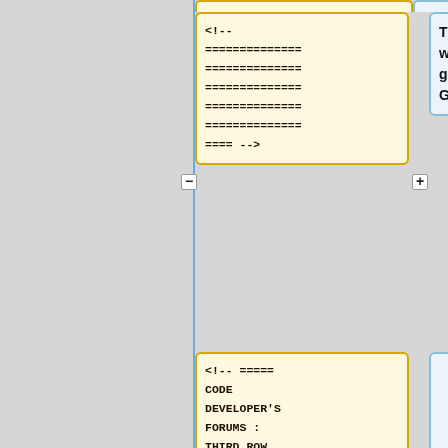[Figure (screenshot): Diff/comparison view showing three rows of code blocks and annotation boxes. Row 1: yellow code box with HTML comment containing equals signs, paired with blue info box reading 'The table below lists where you can find general information about GEOS-Chem.' Row 2: yellow code box with '<!-- ===== CODE DEVELOPER'S FORUMS : THIRD ROW ===== -->', paired with empty blue box. Row 3: yellow code box with HTML comment containing equals signs, paired with empty blue box.]